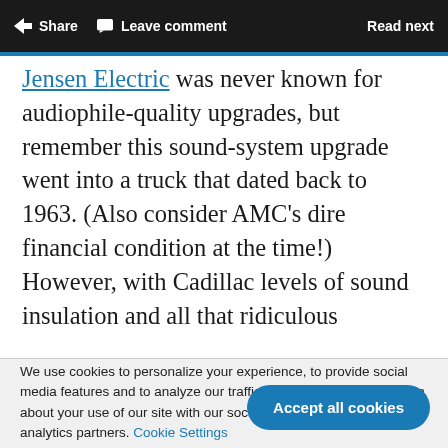Share   Leave comment   Read next
Jensen Electric was never known for audiophile-quality upgrades, but remember this sound-system upgrade went into a truck that dated back to 1963. (Also consider AMC's dire financial condition at the time!) However, with Cadillac levels of sound insulation and all that ridiculous
We use cookies to personalize your experience, to provide social media features and to analyze our traffic. We also share information about your use of our site with our social media, advertising and analytics partners. Cookie Settings
Accept all cookies